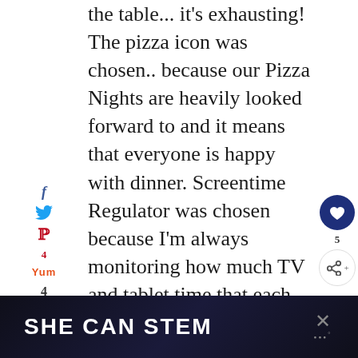the table... it's exhausting! The pizza icon was chosen.. because our Pizza Nights are heavily looked forward to and it means that everyone is happy with dinner. Screentime Regulator was chosen because I'm always monitoring how much TV and tablet time that each kid is having. Nailed it – means I did something right (referencing Pizza Night again). Mom Hard – well, I have to say, while this mom thing isn't easy, I'm all in and I love being a mom. I Mom Hard!!
SHE CAN STEM